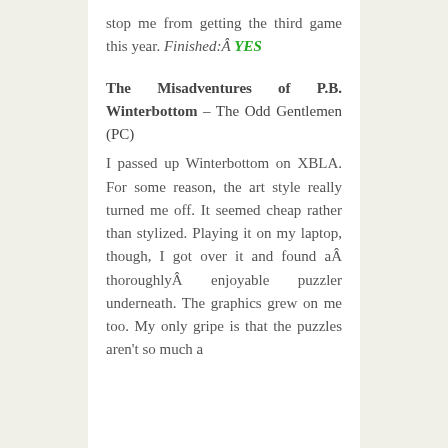stop me from getting the third game this year. Finished:Â YES
The Misadventures of P.B. Winterbottom – The Odd Gentlemen (PC)
I passed up Winterbottom on XBLA. For some reason, the art style really turned me off. It seemed cheap rather than stylized. Playing it on my laptop, though, I got over it and found aÂ thoroughlyÂ enjoyable puzzler underneath. The graphics grew on me too. My only gripe is that the puzzles aren't so much a